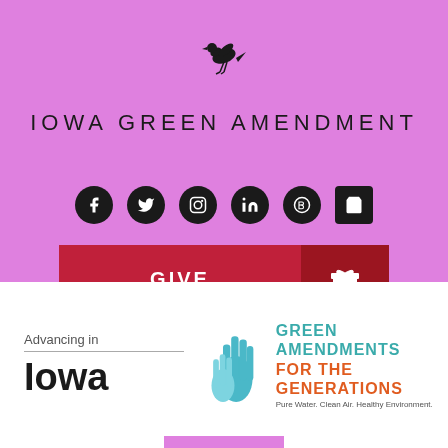[Figure (logo): Black bird/stork silhouette logo]
IOWA GREEN AMENDMENT
[Figure (infographic): Social media icons: Facebook, Twitter, Instagram, LinkedIn, Blogger, Shopping Bag]
[Figure (infographic): Red GIVE button with gift icon]
Advancing in
Iowa
[Figure (logo): Green Amendments For The Generations logo with hands graphic. Pure Water. Clean Air. Healthy Environment.]